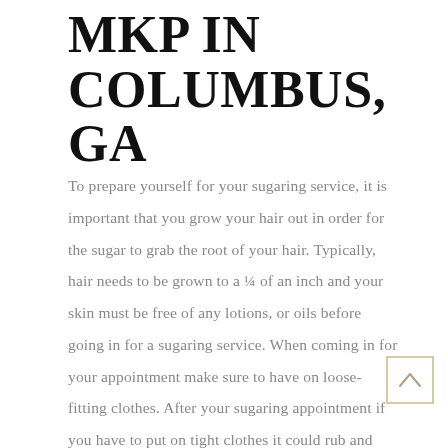MKP IN COLUMBUS, GA
To prepare yourself for your sugaring service, it is important that you grow your hair out in order for the sugar to grab the root of your hair. Typically, hair needs to be grown to a ¼ of an inch and your skin must be free of any lotions, or oils before going in for a sugaring service. When coming in for your appointment make sure to have on loose-fitting clothes. After your sugaring appointment if you have to put on tight clothes it could rub and irritate the freshly sugared skin!
[Figure (other): Scroll-to-top button with upward caret arrow inside a gold-bordered square]